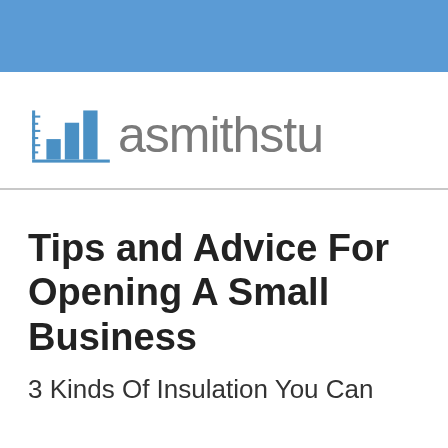[Figure (logo): asmithstu logo with blue bar chart icon and text 'asmithstu' in gray and blue]
Tips and Advice For Opening A Small Business
3 Kinds Of Insulation You Can